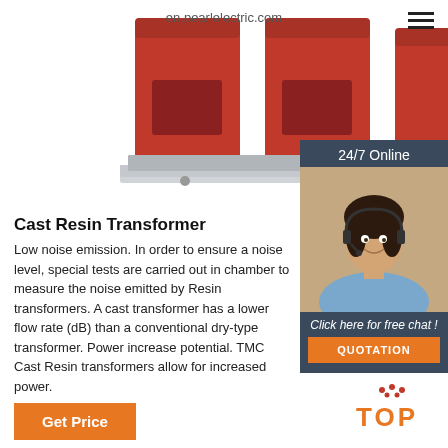en.pearlelectric.com
[Figure (photo): Three red cylindrical cast resin transformers mounted on a grey metal base frame, viewed from the front.]
[Figure (photo): 24/7 Online customer service agent - woman wearing headset smiling, with dark background panel showing chat and quotation options.]
Cast Resin Transformer
Low noise emission. In order to ensure a noise level, special tests are carried out in chamber to measure the noise emitted by Resin transformers. A cast transformer has a lower flow rate (dB) than a conventional dry-type transformer. Power increase potential. TMC Cast Resin transformers allow for increased power.
Get Price
[Figure (logo): TOP badge with orange text and red dots above it]